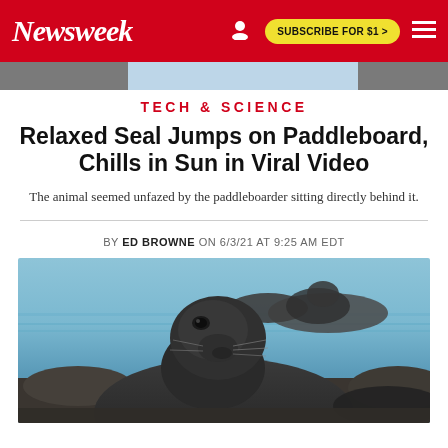Newsweek — SUBSCRIBE FOR $1 >
[Figure (photo): Thin strip of images above the article: left dark photo strip, center light blue water/sky strip, right dark photo strip]
TECH & SCIENCE
Relaxed Seal Jumps on Paddleboard, Chills in Sun in Viral Video
The animal seemed unfazed by the paddleboarder sitting directly behind it.
BY ED BROWNE ON 6/3/21 AT 9:25 AM EDT
[Figure (photo): Close-up photograph of a seal looking upward at the camera, with a rocky shore and water in the background, and other seals visible behind it.]